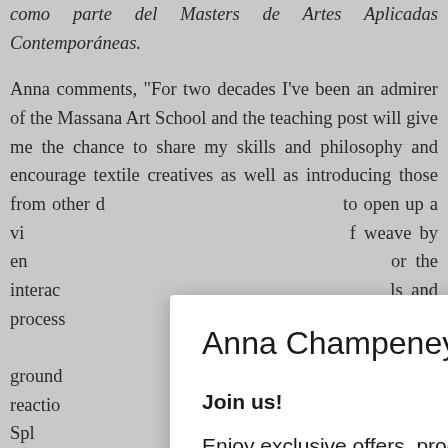como parte del Masters de Artes Aplicadas Contemporáneas.

Anna comments, “For two decades Iʾve been an admirer of the Massana Art School and the teaching post will give me the chance to share my skills and philosophy and encourage textile creatives as well as introducing those from other d… to open up a vi… f weave by en… or the interac… ls and process… lose to weave … orough ground… es and reactio… can act as a Spl… otogrity
Anna Champeney
Join us!
Enjoy exclusive offers, product launches & news.